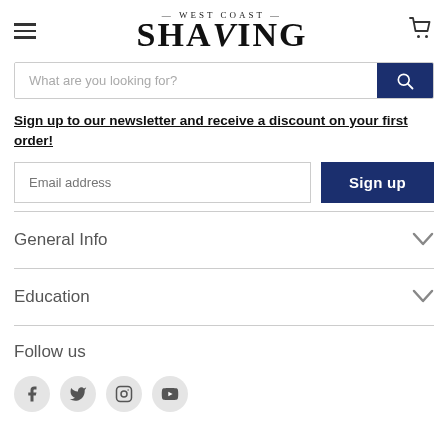[Figure (logo): West Coast Shaving logo with hamburger menu and cart icon]
[Figure (screenshot): Search bar with placeholder 'What are you looking for?' and navy search button]
Sign up to our newsletter and receive a discount on your first order!
[Figure (screenshot): Email address input field with Sign up button]
General Info
Education
Follow us
[Figure (infographic): Social media icons: Facebook, Twitter, Instagram, YouTube]